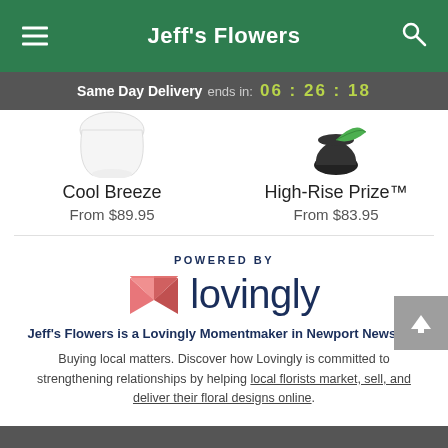Jeff's Flowers
Same Day Delivery ends in: 06 : 26 : 18
Cool Breeze
From $89.95
High-Rise Prize™
From $83.95
[Figure (logo): Lovingly logo with heart/envelope icon and text 'lovingly', preceded by 'POWERED BY']
Jeff's Flowers is a Lovingly Momentmaker in Newport News, VA
Buying local matters. Discover how Lovingly is committed to strengthening relationships by helping local florists market, sell, and deliver their floral designs online.